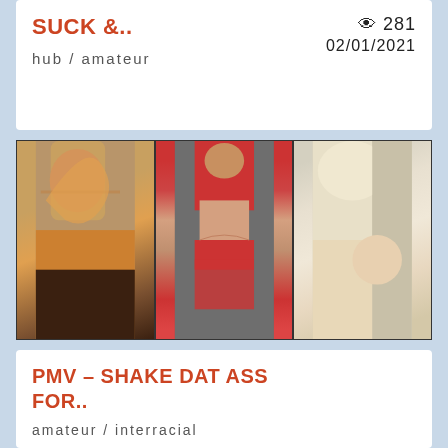SUCK &..
👁 281
02/01/2021
hub / amateur
[Figure (photo): Three-panel thumbnail composite showing amateur video stills]
PMV - SHAKE DAT ASS FOR..
amateur / interracial